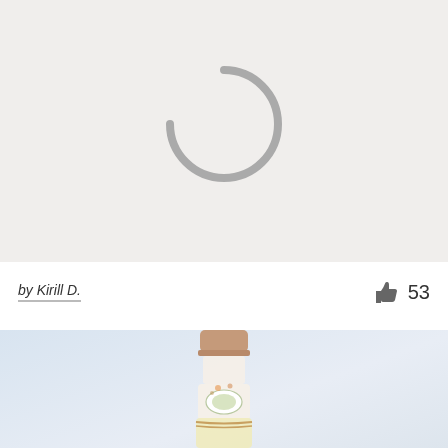[Figure (photo): Light gray loading placeholder with a circular spinner/loading indicator in the center]
by Kirill D.
[Figure (other): Thumbs up like icon]
53
[Figure (photo): Product photo of a decorative glass bottle/jar with a copper/rose gold lid and floral label, on a light blue-gray background]